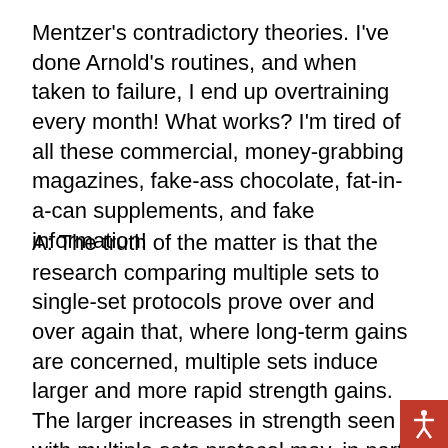Mentzer's contradictory theories. I've done Arnold's routines, and when taken to failure, I end up overtraining every month! What works? I'm tired of all these commercial, money-grabbing magazines, fake-ass chocolate, fat-in-a-can supplements, and fake information!
A: The truth of the matter is that the research comparing multiple sets to single-set protocols prove over and over again that, where long-term gains are concerned, multiple sets induce larger and more rapid strength gains. The larger increases in strength seen with multiple sets protocol may, in part, be associated to the fact that higher volumes of total work produce significantly greater increases in circulating anabolic hormones during recovery (Gotshalk et al. 1996). Recent research has pointed to elevated levels of growth hormone in multiple sets training versus single